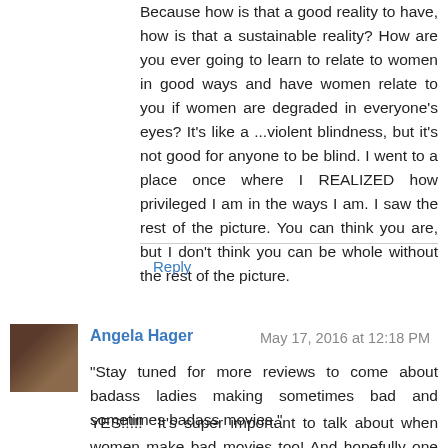Because how is that a good reality to have, how is that a sustainable reality? How are you ever going to learn to relate to women in good ways and have women relate to you if women are degraded in everyone's eyes? It's like a ...violent blindness, but it's not good for anyone to be blind. I went to a place once where I REALIZED how privileged I am in the ways I am. I saw the rest of the picture. You can think you are, but I don't think you can be whole without the rest of the picture.
Reply
Angela Hager  May 17, 2016 at 12:18 PM
"Stay tuned for more reviews to come about badass ladies making sometimes bad and sometimes badass movies."
YES!!!!!  It's super important to talk about when women make bad movies too! And hopefully one day we just talk about filmmakers regardless of gender. That's the goal!